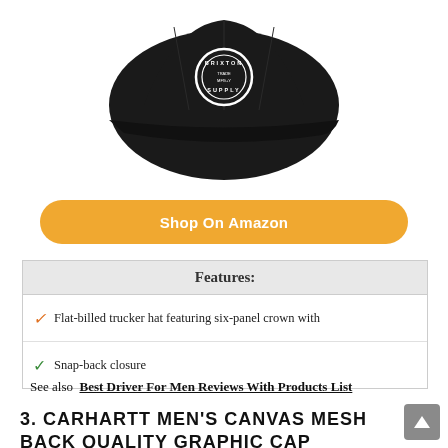[Figure (photo): Black flat-billed snapback trucker hat (Brixton brand) photographed from a front-angle, showing a circular logo badge on the front panel. Hat is all black.]
Shop On Amazon
| Features: |
| --- |
| Flat-billed trucker hat featuring six-panel crown with |
| Snap-back closure |
See also  Best Driver For Men Reviews With Products List
3. CARHARTT MEN'S CANVAS MESH BACK QUALITY GRAPHIC CAP